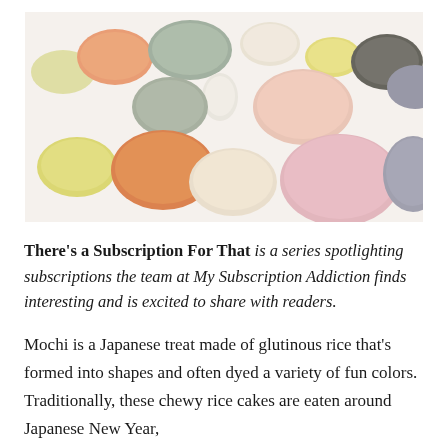[Figure (photo): A close-up photo of multiple colorful mochi pieces in various pastel colors including orange, pink, green, yellow, white, gray-black, and lavender, arranged on a white surface.]
There's a Subscription For That is a series spotlighting subscriptions the team at My Subscription Addiction finds interesting and is excited to share with readers.
Mochi is a Japanese treat made of glutinous rice that's formed into shapes and often dyed a variety of fun colors. Traditionally, these chewy rice cakes are eaten around Japanese New Year.